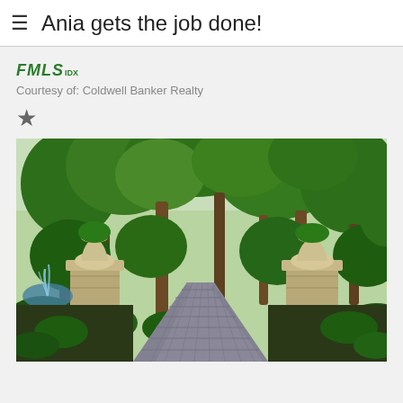Ania gets the job done!
[Figure (logo): FMLS IDX logo in green italic bold font]
Courtesy of: Coldwell Banker Realty
[Figure (other): Star/favorite icon]
[Figure (photo): Outdoor property photo showing a cobblestone driveway flanked by stone pillar gates with decorative urns, lush green trees, and a fountain visible on the left side]